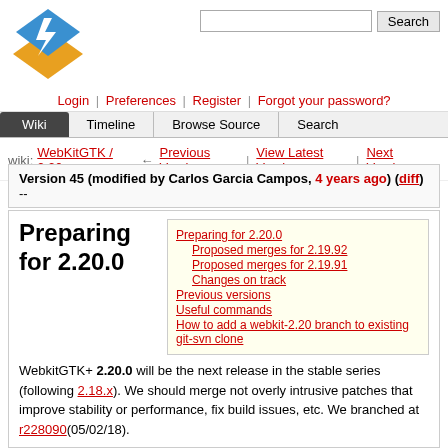[Figure (logo): Trac project logo with lightning bolt icon on blue/yellow diamond shape]
Login | Preferences | Register | Forgot your password?
Wiki | Timeline | Browse Source | Search
wiki: WebKitGTK / 2.20.x  ← Previous Version | View Latest Version | Next Version →
Version 45 (modified by Carlos Garcia Campos, 4 years ago) (diff)
--
Preparing for 2.20.0
Preparing for 2.20.0
Proposed merges for 2.19.92
Proposed merges for 2.19.91
Changes on track
Previous versions
Useful commands
How to add a webkit-2.20 branch to existing git-svn clone
WebkitGTK+ 2.20.0 will be the next release in the stable series (following 2.18.x). We should merge not overly intrusive patches that improve stability or performance, fix build issues, etc. We branched at r228090(05/02/18).
When filing bugs (⇒ http://bugs.webkit.org) against stable release, please prefix them with "[GTK] [Stable]" to ensure they are addressed with higher priority. No regressions should be introduced.